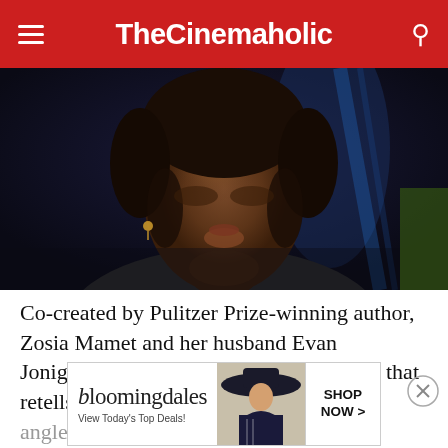TheCinemaholic
[Figure (photo): Close-up photo of a young woman's face with dark complexion and braided hair, in a moody dark blue cinematic lighting]
Co-created by Pulitzer Prize-winning author, Zosia Mamet and her husband Evan Jonigkeit, 'Fabled,' is an anthology series that retells classic fairy tales from a feminist angle. According to reports, the creators exploring the story by telling it. Apart from Mamet and Jonigkeit's characters.
[Figure (screenshot): Bloomingdale's advertisement banner: bloomingdales logo, 'View Today's Top Deals!' tagline, woman with large hat image, and SHOP NOW > button]